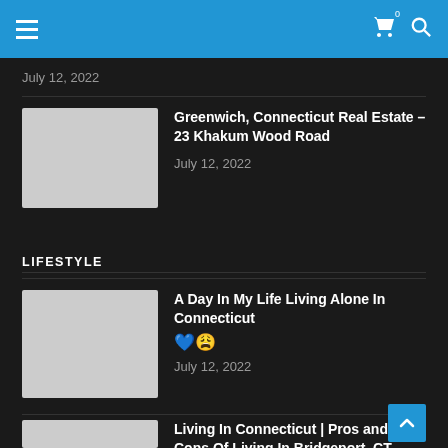Navigation bar with hamburger menu, cart icon (0), and search icon
July 12, 2022
Greenwich, Connecticut Real Estate – 23 Khakum Wood Road
July 12, 2022
LIFESTYLE
A Day In My Life Living Alone In Connecticut 💙😩
July 12, 2022
Living In Connecticut | Pros and Cons Of Living In Bridgeport, CT